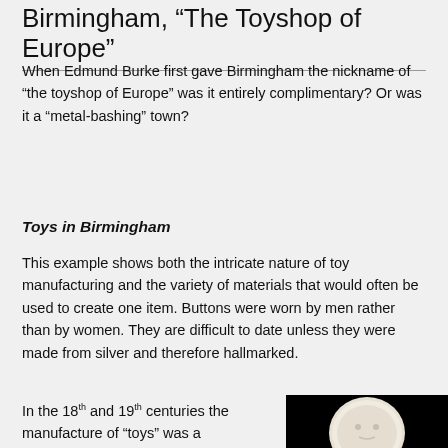Birmingham, “The Toyshop of Europe”
When Edmund Burke first gave Birmingham the nickname of “the toyshop of Europe” was it entirely complimentary? Or was it a “metal-bashing” town?
Toys in Birmingham
This example shows both the intricate nature of toy manufacturing and the variety of materials that would often be used to create one item. Buttons were worn by men rather than by women. They are difficult to date unless they were made from silver and therefore hallmarked.
In the 18th and 19th centuries the manufacture of “toys” was a
[Figure (photo): A white rounded object (possibly a button or medallion) against a black background]